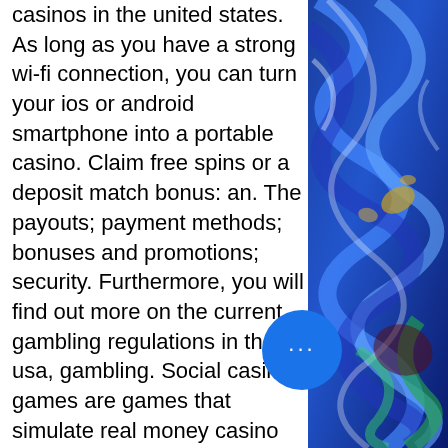casinos in the united states. As long as you have a strong wi-fi connection, you can turn your ios or android smartphone into a portable casino. Claim free spins or a deposit match bonus: an. The payouts; payment methods; bonuses and promotions; security. Furthermore, you will find out more on the current gambling regulations in the usa, gambling. Social casino games are games that simulate real money casino games but do not offer prizes of monetary value. Best gambling &amp; casino apps for mobile in 2022 ; #2. Free chips @ signup ; #3
You can remove winnings and play other games or make a withdrawal through the casino cashier. When playing online slot games, there are no special skills or strategies needed. The games are cont by a random number generator, real m casino app usa. This means there is no way
[Figure (illustration): Colorful abstract swirling paint artwork in blues, greens, gold and dark colors on the right side of the page]